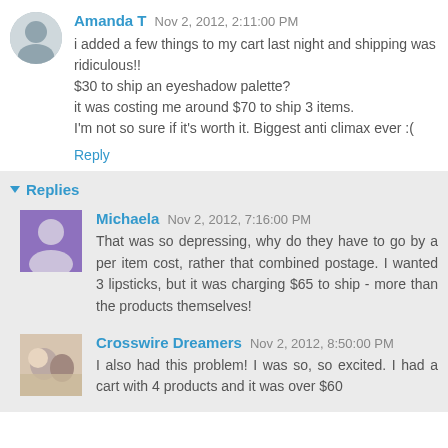Amanda T  Nov 2, 2012, 2:11:00 PM
i added a few things to my cart last night and shipping was ridiculous!!
$30 to ship an eyeshadow palette?
it was costing me around $70 to ship 3 items.
I'm not so sure if it's worth it. Biggest anti climax ever :(
Reply
Replies
Michaela  Nov 2, 2012, 7:16:00 PM
That was so depressing, why do they have to go by a per item cost, rather that combined postage. I wanted 3 lipsticks, but it was charging $65 to ship - more than the products themselves!
Crosswire Dreamers  Nov 2, 2012, 8:50:00 PM
I also had this problem! I was so, so excited. I had a cart with 4 products and it was over $60